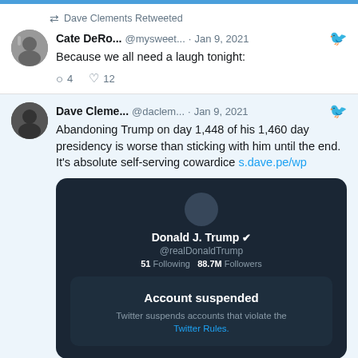Dave Clements Retweeted
Cate DeRo... @mysweet... · Jan 9, 2021
Because we all need a laugh tonight:
4 replies, 12 likes
Dave Cleme... @daclem... · Jan 9, 2021
Abandoning Trump on day 1,448 of his 1,460 day presidency is worse than sticking with him until the end. It's absolute self-serving cowardice s.dave.pe/wp
[Figure (screenshot): Screenshot of Donald J. Trump's suspended Twitter account showing 'Account suspended' message. Profile shows @realDonaldTrump, 51 Following, 88.7M Followers. Dark background with text: 'Twitter suspends accounts that violate the Twitter Rules.']
dave.clements.uk